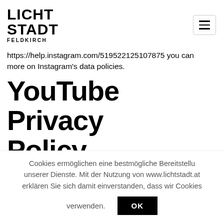[Figure (logo): Lichtstadt Feldkirch logo with hamburger menu button]
https://help.instagram.com/519522125107875 you can more on Instagram's data policies.
YouTube Privacy Policy
We have integrated YouTube videos to our webs
Cookies ermöglichen eine bestmögliche Bereitstellung unserer Dienste. Mit der Nutzung von www.lichtstadt.at erklären Sie sich damit einverstanden, dass wir Cookies verwenden.
OK